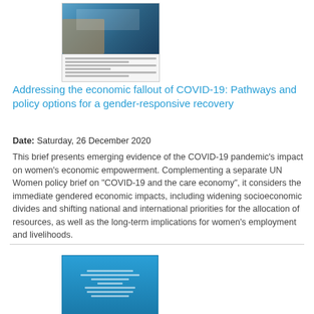[Figure (illustration): Thumbnail image of a document cover showing a photo of women and text lines below it]
Addressing the economic fallout of COVID-19: Pathways and policy options for a gender-responsive recovery
Date: Saturday, 26 December 2020
This brief presents emerging evidence of the COVID-19 pandemic's impact on women's economic empowerment. Complementing a separate UN Women policy brief on "COVID-19 and the care economy", it considers the immediate gendered economic impacts, including widening socioeconomic divides and shifting national and international priorities for the allocation of resources, as well as the long-term implications for women's employment and livelihoods.
[Figure (illustration): Thumbnail of a blue policy brief cover titled Policy Brief on disability-inclusive Responses to COVID-19]